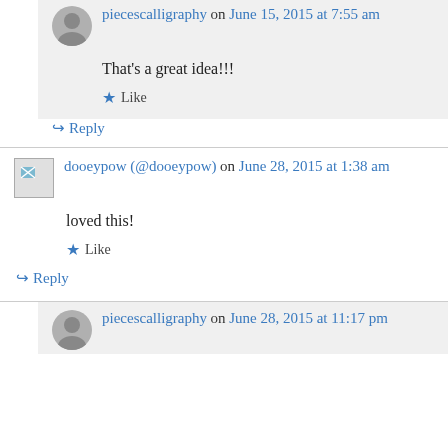piecescalligraphy on June 15, 2015 at 7:55 am
That's a great idea!!!
Like
Reply
dooeypow (@dooeypow) on June 28, 2015 at 1:38 am
loved this!
Like
Reply
piecescalligraphy on June 28, 2015 at 11:17 pm